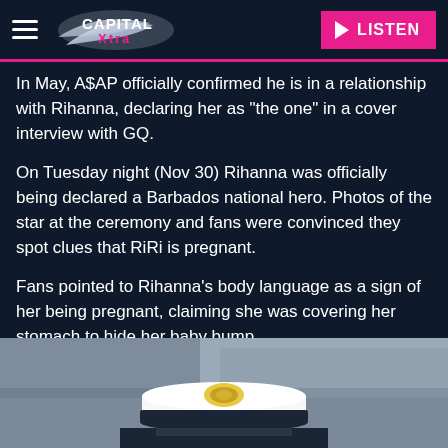Capital Xtra — LISTEN
In May, A$AP officially confirmed he is in a relationship with Rihanna, declaring her as "the one" in a cover interview with GQ.
On Tuesday night (Nov 30) Rihanna was officially being declared a Barbados national hero. Photos of the star at the ceremony and fans were convinced they spot clues that RiRi is pregnant.
Fans pointed to Rihanna's body language as a sign of her being pregnant, claiming she was covering her stomach to hide her baby bump.
[Figure (photo): A person in a white naval/military officer's cap photographed from below against a grey sky background]